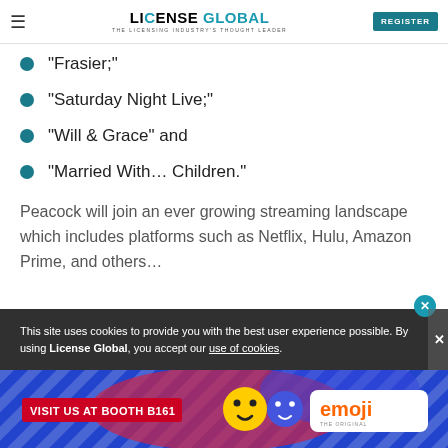LICENSE GLOBAL — THE LICENSING INDUSTRY'S THOUGHT LEADER | REGISTER
“Frasier;”
“Saturday Night Live;”
“Will & Grace” and
“Married With… Children.”
Peacock will join an ever growing streaming landscape which includes platforms such as Netflix, Hulu, Amazon Prime, and others...
This site uses cookies to provide you with the best user experience possible. By using License Global, you accept our use of cookies.
[Figure (infographic): Advertisement banner: Visit Us At Booth B161 with emoji brand logo and colorful background]